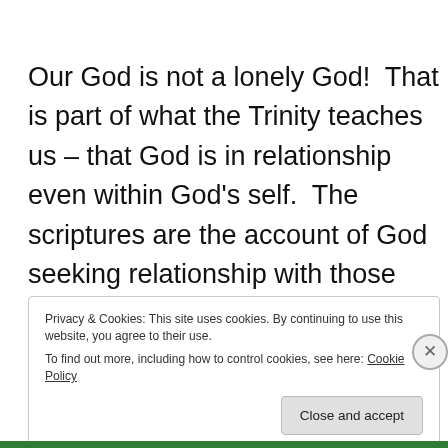Our God is not a lonely God!  That is part of what the Trinity teaches us – that God is in relationship even within God's self.  The scriptures are the account of God seeking relationship with those heshe has created and we are called to be in deep, strong,
Privacy & Cookies: This site uses cookies. By continuing to use this website, you agree to their use.
To find out more, including how to control cookies, see here: Cookie Policy